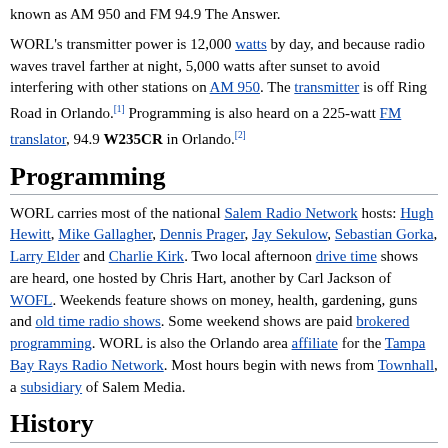known as AM 950 and FM 94.9 The Answer.
WORL's transmitter power is 12,000 watts by day, and because radio waves travel farther at night, 5,000 watts after sunset to avoid interfering with other stations on AM 950. The transmitter is off Ring Road in Orlando.[1] Programming is also heard on a 225-watt FM translator, 94.9 W235CR in Orlando.[2]
Programming
WORL carries most of the national Salem Radio Network hosts: Hugh Hewitt, Mike Gallagher, Dennis Prager, Jay Sekulow, Sebastian Gorka, Larry Elder and Charlie Kirk. Two local afternoon drive time shows are heard, one hosted by Chris Hart, another by Carl Jackson of WOFL. Weekends feature shows on money, health, gardening, guns and old time radio shows. Some weekend shows are paid brokered programming. WORL is also the Orlando area affiliate for the Tampa Bay Rays Radio Network. Most hours begin with news from Townhall, a subsidiary of Salem Media.
History
WLOF